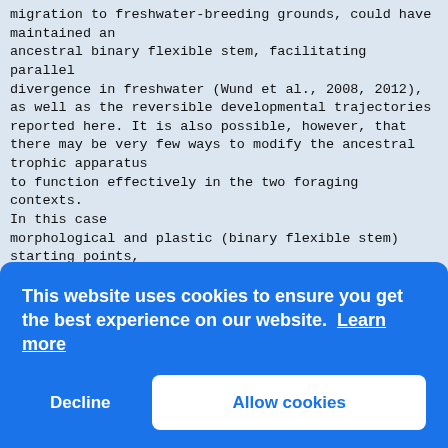migration to freshwater-breeding grounds, could have maintained an ancestral binary flexible stem, facilitating parallel divergence in freshwater (Wund et al., 2008, 2012), as well as the reversible developmental trajectories reported here. It is also possible, however, that there may be very few ways to modify the ancestral trophic apparatus to function effectively in the two foraging contexts. In this case morphological and plastic (binary flexible stem) starting points, combined with functional constraints, could have imposed the high levels of parallelism in morphology along the benthic-limnetic axis. Heredity In contrast, the cause of parallelism in behavior may lie in the presence of a constitutive neural network that poss[...] resp[...] envi[...] low-[...] read[...] degr[...] patt[...] resp[...] patt[...] resp[...] to e[...] divergence, appear to be ancestral and largely
[Figure (screenshot): Cookie consent banner with blue background. Message: 'This website uses cookies to ensure you get the best experience on our website. Learn more'. Two buttons: 'Decline' (text only) and 'Allow cookies' (white rounded button).]